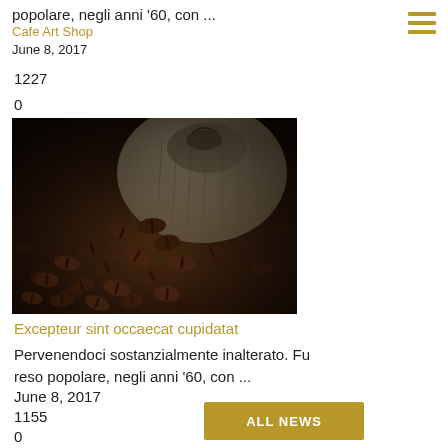popolare, negli anni '60, con ...
Cafe Art Shop
June 8, 2017
1227
0
[Figure (photo): Coffee beans spilling out of a burlap sack onto a dark surface, dark moody photography]
Excepteur sint occaecat cupidatat
Pervenendoci sostanzialmente inalterato. Fu reso popolare, negli anni '60, con ...
June 8, 2017
1155
0
ALL NEWS